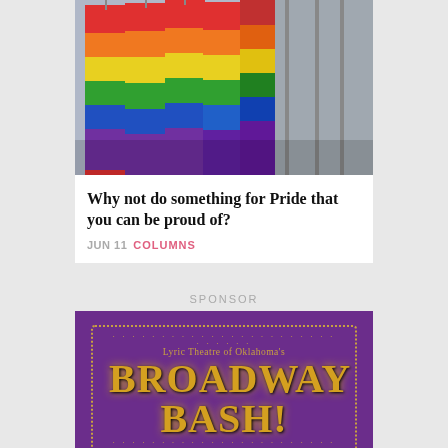[Figure (photo): Multiple rainbow Pride flags waving in front of a building facade]
Why not do something for Pride that you can be proud of?
JUN 11  COLUMNS
SPONSOR
[Figure (illustration): Lyric Theatre of Oklahoma's Broadway Bash! advertisement on purple background with gold dotted border and gold text]